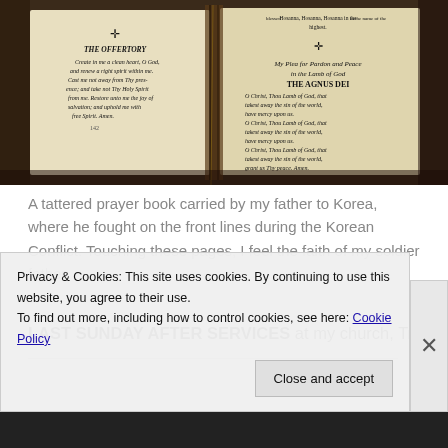[Figure (photo): A tattered, worn prayer book opened to pages showing 'THE OFFERTORY' on the left and 'THE AGNUS DEI' / 'My Plea for Pardon and Peace in the Lamb of God' on the right, with ornamental crosses. The pages are yellowed and the binding is frayed.]
A tattered prayer book carried by my father to Korea, where he fought on the front lines during the Korean Conflict. Touching these pages, I feel the faith of my soldier father.
LAST SUNDAY AFTER SERVICES at my church, Trinity
Privacy & Cookies: This site uses cookies. By continuing to use this website, you agree to their use.
To find out more, including how to control cookies, see here: Cookie Policy